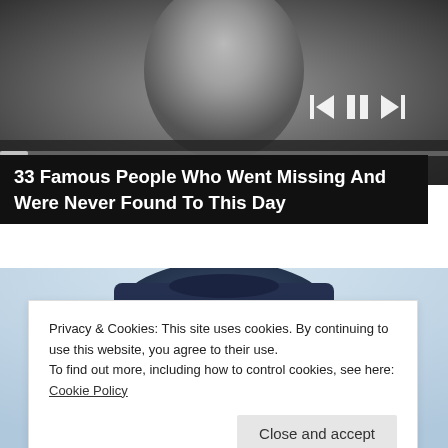[Figure (photo): Black and white photograph of a person, partially visible, used as background for a media player with playback controls and a progress bar overlay]
33 Famous People Who Went Missing And Were Never Found To This Day
[Figure (photo): Color photograph of an elderly man wearing a large dark navy cowboy hat with white/blonde hair visible beneath]
Privacy & Cookies: This site uses cookies. By continuing to use this website, you agree to their use.
To find out more, including how to control cookies, see here: Cookie Policy
Close and accept